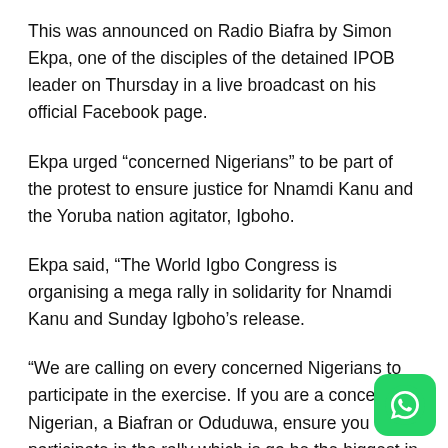This was announced on Radio Biafra by Simon Ekpa, one of the disciples of the detained IPOB leader on Thursday in a live broadcast on his official Facebook page.
Ekpa urged “concerned Nigerians” to be part of the protest to ensure justice for Nnamdi Kanu and the Yoruba nation agitator, Igboho.
Ekpa said, “The World Igbo Congress is organising a mega rally in solidarity for Nnamdi Kanu and Sunday Igboho’s release.
“We are calling on every concerned Nigerians to participate in the exercise. If you are a concerned Nigerian, a Biafran or Oduduwa, ensure you participate in the rally which is go be the biggest in the country.”
[Figure (logo): WhatsApp green icon in bottom right corner]